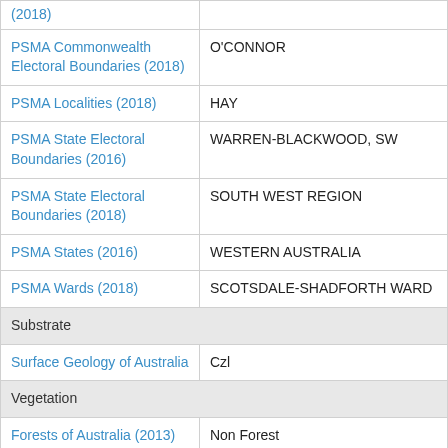| Layer | Value |
| --- | --- |
| (2018) |  |
| PSMA Commonwealth Electoral Boundaries (2018) | O'CONNOR |
| PSMA Localities (2018) | HAY |
| PSMA State Electoral Boundaries (2016) | WARREN-BLACKWOOD, SW |
| PSMA State Electoral Boundaries (2018) | SOUTH WEST REGION |
| PSMA States (2016) | WESTERN AUSTRALIA |
| PSMA Wards (2018) | SCOTSDALE-SHADFORTH WARD |
| Substrate |  |
| Surface Geology of Australia | Czl |
| Vegetation |  |
| Forests of Australia (2013) v2.0 | Non Forest |
|  |  |